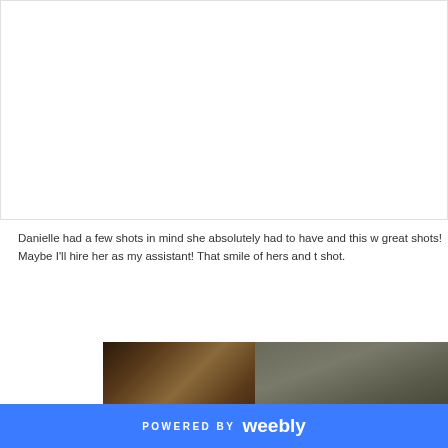[Figure (photo): White/blank image area at top of page]
Danielle had a few shots in mind she absolutely had to have and this w great shots! Maybe I'll hire her as my assistant! That smile of hers and t shot.
[Figure (photo): Partial photo showing brown hair on left and dark fabric/textile on right]
POWERED BY weebly